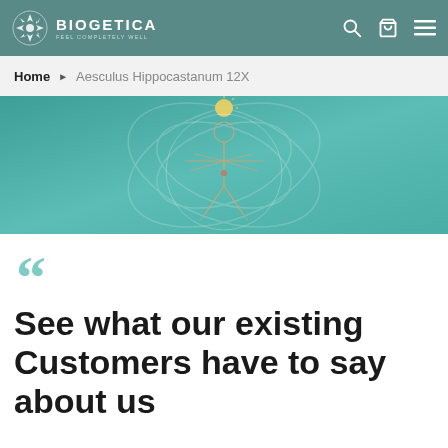BIOGETICA
Home ▶ Aesculus Hippocastanum 12X
[Figure (illustration): Vitruvian man style illustration on teal/green gradient background with DNA/butterfly motif]
See what our existing Customers have to say about us